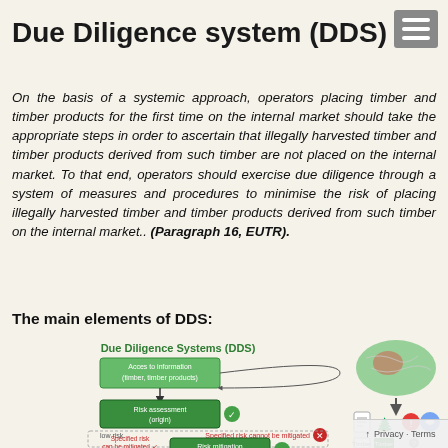Due Diligence system (DDS)
On the basis of a systemic approach, operators placing timber and timber products for the first time on the internal market should take the appropriate steps in order to ascertain that illegally harvested timber and timber products derived from such timber are not placed on the internal market. To that end, operators should exercise due diligence through a system of measures and procedures to minimise the risk of placing illegally harvested timber and timber products derived from such timber on the internal market.. (Paragraph 16, EUTR).
The main elements of DDS:
[Figure (flowchart): Due Diligence Systems (DDS) flowchart showing: Access to information (timber, timber products) → Risk assessment (origin) with low risk path and specified risk cannot be mitigated path → Risk mitigation measures. Alongside a map image and icons showing timber/document workflow.]